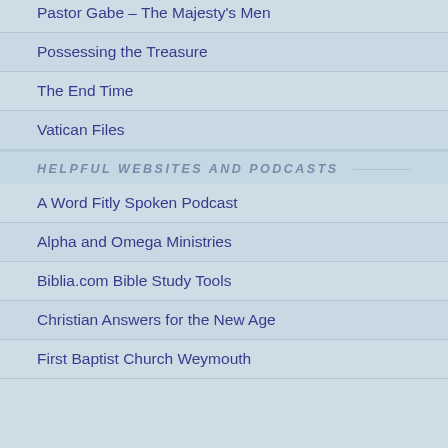Pastor Gabe – The Majesty's Men
Possessing the Treasure
The End Time
Vatican Files
HELPFUL WEBSITES AND PODCASTS
A Word Fitly Spoken Podcast
Alpha and Omega Ministries
Biblia.com Bible Study Tools
Christian Answers for the New Age
First Baptist Church Weymouth